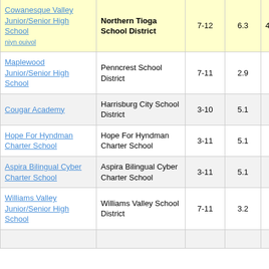| School | District | Grades | Score |  |
| --- | --- | --- | --- | --- |
| Cowanesque Valley Junior/Senior High School | Northern Tioga School District | 7-12 | 6.3 | 4 |
| Maplewood Junior/Senior High School | Penncrest School District | 7-11 | 2.9 |  |
| Cougar Academy | Harrisburg City School District | 3-10 | 5.1 |  |
| Hope For Hyndman Charter School | Hope For Hyndman Charter School | 3-11 | 5.1 |  |
| Aspira Bilingual Cyber Charter School | Aspira Bilingual Cyber Charter School | 3-11 | 5.1 |  |
| Williams Valley Junior/Senior High School | Williams Valley School District | 7-11 | 3.2 |  |